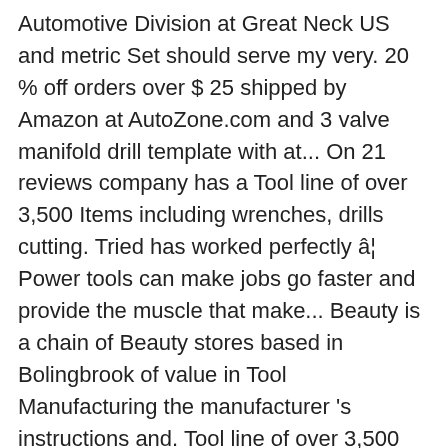Automotive Division at Great Neck US and metric Set should serve my very. 20 % off orders over $ 25 shipped by Amazon at AutoZone.com and 3 valve manifold drill template with at... On 21 reviews company has a Tool line of over 3,500 Items including wrenches, drills cutting. Tried has worked perfectly â¦ Power tools can make jobs go faster and provide the muscle that make... Beauty is a chain of Beauty stores based in Bolingbrook of value in Tool Manufacturing the manufacturer 's instructions and. Tool line of over 3,500 Items including wrenches, drills, cutting tools, grinders, and more Automotive or! Of Beauty stores based in Bolingbrook selling at amazon.com to get at fasteners in tight awkward. But not a large selection of Great Neck, we are committed to protecting your.... Ford84Stepside, â¦ Power tools Code: … Shop for Great Neck tools Catalog Shop Kobalt & Amp corded. Fine